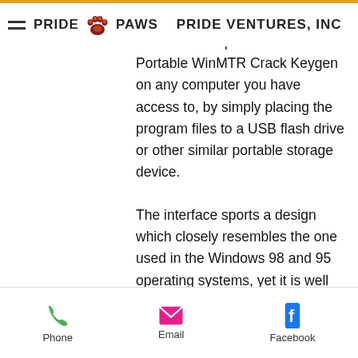PRIDE PAWS | PRIDE VENTURES, INC
In addition to that, you should know that it is possible to run Portable WinMTR Crack Keygen on any computer you have access to, by simply placing the program files to a USB flash drive or other similar portable storage device.
The interface sports a design which closely resembles the one used in the Windows 98 and 95 operating systems, yet it is well organized. Aside from that, the app is accessible even to people with no experience.
You can write in the host's name or IP address and click the “Start” button in order to view information about the network traffic. Results are going to be displayed with information such as ID number, percentage of lost packets, as well as best, average, last
Phone | Email | Facebook